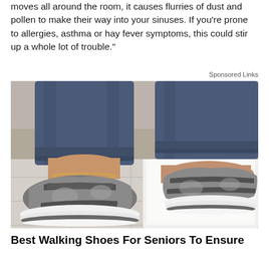moves all around the room, it causes flurries of dust and pollen to make their way into your sinuses. If you're prone to allergies, asthma or hay fever symptoms, this could stir up a whole lot of trouble."
Sponsored Links
[Figure (photo): Close-up photo of a person wearing gray orthopedic walking sandal sneakers with velcro straps and white soles, anklet visible, on light tile floor with white fluffy rug in background. Person is wearing blue jeans.]
Best Walking Shoes For Seniors To Ensure